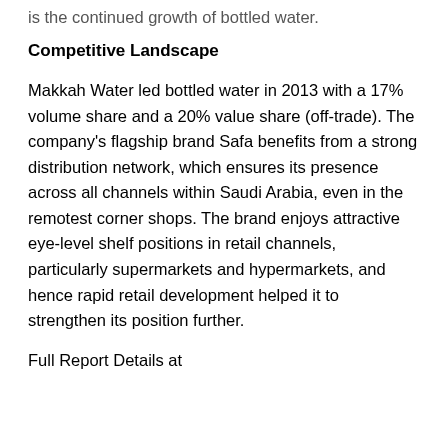is the continued growth of bottled water.
Competitive Landscape
Makkah Water led bottled water in 2013 with a 17% volume share and a 20% value share (off-trade). The company's flagship brand Safa benefits from a strong distribution network, which ensures its presence across all channels within Saudi Arabia, even in the remotest corner shops. The brand enjoys attractive eye-level shelf positions in retail channels, particularly supermarkets and hypermarkets, and hence rapid retail development helped it to strengthen its position further.
Full Report Details at